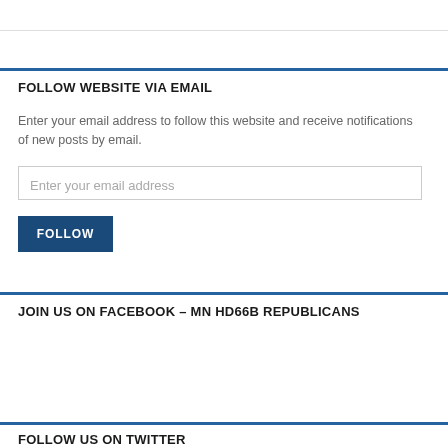FOLLOW WEBSITE VIA EMAIL
Enter your email address to follow this website and receive notifications of new posts by email.
Enter your email address
FOLLOW
JOIN US ON FACEBOOK – MN HD66B REPUBLICANS
FOLLOW US ON TWITTER